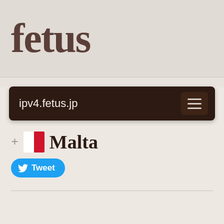fetus
ipv4.fetus.jp
Malta
Tweet
Download
Use for access control.